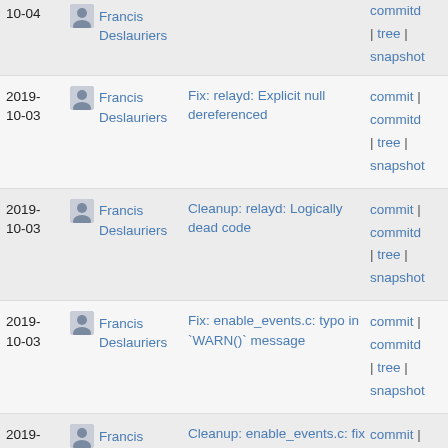| Date | Author | Message | Links |
| --- | --- | --- | --- |
| 2019-10-04 | Francis Deslauriers |  | commitd | tree | snapshot |
| 2019-10-03 | Francis Deslauriers | Fix: relayd: Explicit null dereferenced | commit | commitd | tree | snapshot |
| 2019-10-03 | Francis Deslauriers | Cleanup: relayd: Logically dead code | commit | commitd | tree | snapshot |
| 2019-10-03 | Francis Deslauriers | Fix: enable_events.c: typo in `WARN()` message | commit | commitd | tree | snapshot |
| 2019-10-03 | Francis Deslauriers | Cleanup: enable_events.c: fix erroneous comment | commit | commitd | tree | snapshot |
| 2019-10-03 | Francis Deslauriers | Cleanup: relayd: identical code for different branches | commit | commitd |